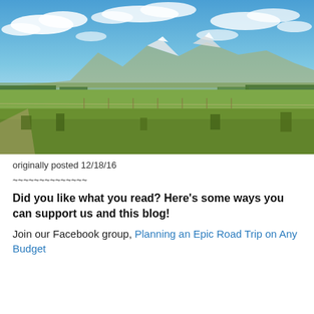[Figure (photo): Wide landscape photo showing green grassy plains with a mountain range in the background and blue sky with white clouds above.]
originally posted 12/18/16
~~~~~~~~~~~~~~
Did you like what you read? Here's some ways you can support us and this blog!
Join our Facebook group, Planning an Epic Road Trip on Any Budget